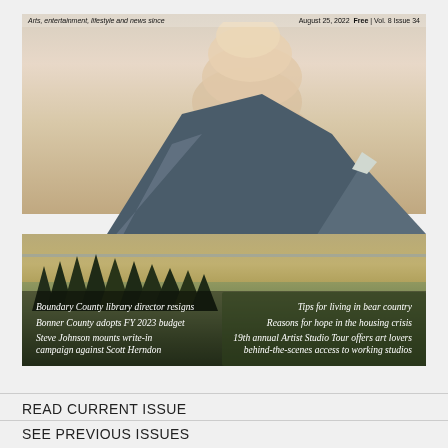Arts, entertainment, lifestyle and news since | August 25, 2022 Free | Vol. 8 Issue 34
[Figure (photo): Magazine cover photo showing a wildfire smoke plume rising above a mountain peak, with a wide valley of farmlands and green fields in the foreground and evergreen trees at bottom left. Text overlays list article headlines.]
Boundary County library director resigns
Tips for living in bear country
Bonner County adopts FY 2023 budget
Reasons for hope in the housing crisis
Steve Johnson mounts write-in campaign against Scott Herndon
19th annual Artist Studio Tour offers art lovers behind-the-scenes access to working studios
READ CURRENT ISSUE
SEE PREVIOUS ISSUES